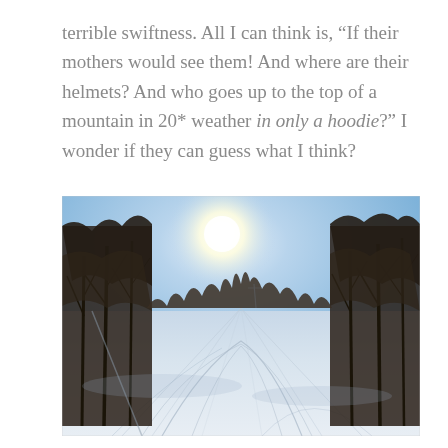terrible swiftness. All I can think is, “If their mothers would see them! And where are their helmets? And who goes up to the top of a mountain in 20* weather in only a hoodie?” I wonder if they can guess what I think?
[Figure (photo): Outdoor winter ski slope photograph. A wide snow-covered ski run stretches toward the horizon, with ski tracks and patterns visible in the snow. Bare deciduous trees line both sides of the slope. A bright sun shines from the upper center, creating a glare against a pale blue winter sky. The scene is shot from the top of the slope looking down.]